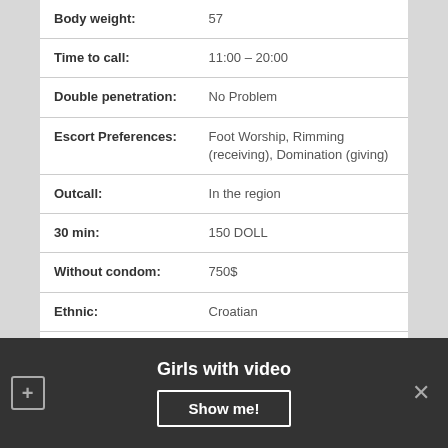| Body weight: | 57 |
| Time to call: | 11:00 – 20:00 |
| Double penetration: | No Problem |
| Escort Preferences: | Foot Worship, Rimming (receiving), Domination (giving) |
| Outcall: | In the region |
| 30 min: | 150 DOLL |
| Without condom: | 750$ |
| Ethnic: | Croatian |
+ PHOTOS
Girls with video
Show me!